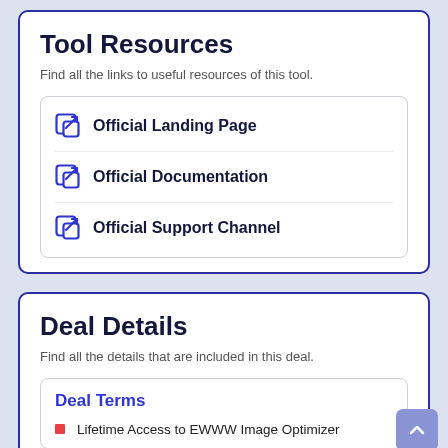Tool Resources
Find all the links to useful resources of this tool.
Official Landing Page
Official Documentation
Official Support Channel
Deal Details
Find all the details that are included in this deal.
Deal Terms
Lifetime Access to EWWW Image Optimizer